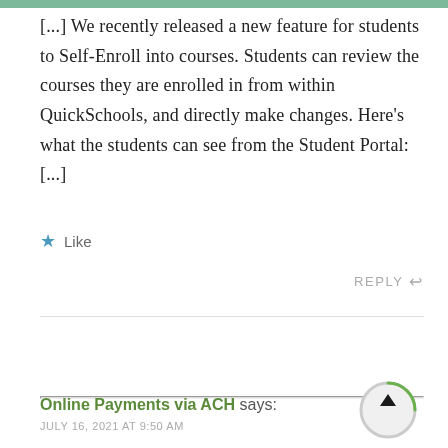[...] We recently released a new feature for students to Self-Enroll into courses. Students can review the courses they are enrolled in from within QuickSchools, and directly make changes. Here's what the students can see from the Student Portal: [...]
★ Like
REPLY ↩
Online Payments via ACH says:
JULY 16, 2021 AT 9:50 AM
[...] Once you've connected your account to